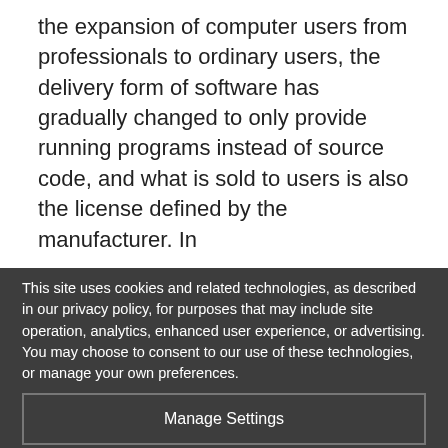the expansion of computer users from professionals to ordinary users, the delivery form of software has gradually changed to only provide running programs instead of source code, and what is sold to users is also the license defined by the manufacturer. In
This site uses cookies and related technologies, as described in our privacy policy, for purposes that may include site operation, analytics, enhanced user experience, or advertising. You may choose to consent to our use of these technologies, or manage your own preferences.
Manage Settings
Accept
Decline All
Privacy Policy